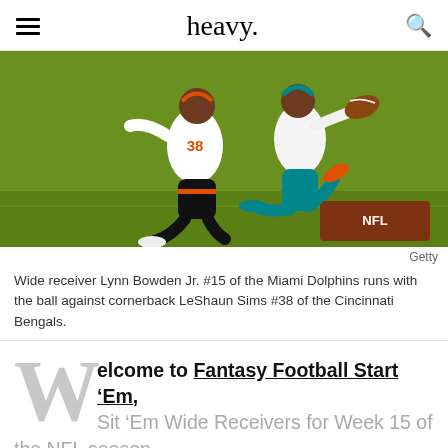heavy.
[Figure (photo): Football action photo: Wide receiver Lynn Bowden Jr. #15 of the Miami Dolphins runs with the ball against cornerback LeShaun Sims #38 of the Cincinnati Bengals, on a green field.]
Getty
Wide receiver Lynn Bowden Jr. #15 of the Miami Dolphins runs with the ball against cornerback LeShaun Sims #38 of the Cincinnati Bengals.
Welcome to Fantasy Football Start ‘Em, Sit ‘Em Wide Receivers for Week 15 of the NFL season.